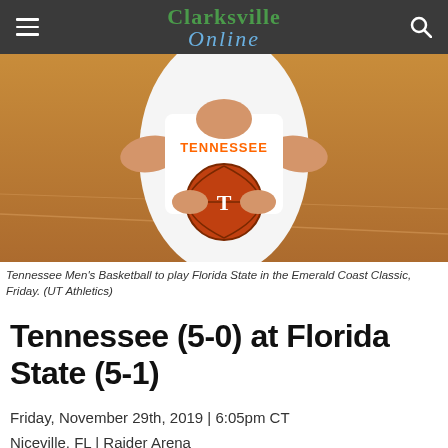Clarksville Online
[Figure (photo): Tennessee Men's Basketball player in white Tennessee jersey holding a basketball on a basketball court]
Tennessee Men's Basketball to play Florida State in the Emerald Coast Classic, Friday. (UT Athletics)
Tennessee (5-0) at Florida State (5-1)
Friday, November 29th, 2019 | 6:05pm CT
Niceville, FL | Raider Arena